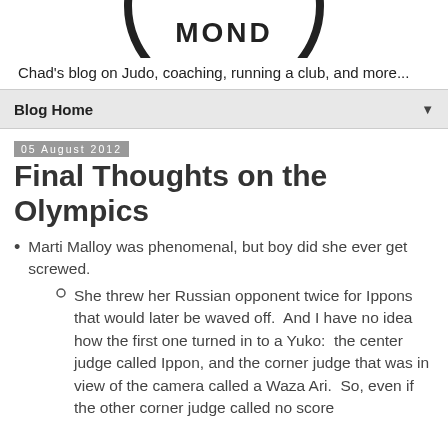[Figure (logo): Partial circular logo with text 'MOND' visible at the top of the page]
Chad's blog on Judo, coaching, running a club, and more...
Blog Home
05 August 2012
Final Thoughts on the Olympics
Marti Malloy was phenomenal, but boy did she ever get screwed.
She threw her Russian opponent twice for Ippons that would later be waved off.  And I have no idea how the first one turned in to a Yuko:  the center judge called Ippon, and the corner judge that was in view of the camera called a Waza Ari.  So, even if the other corner judge called no score